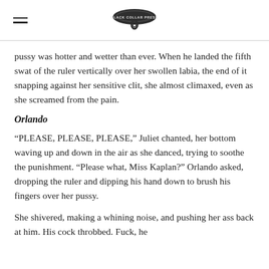Black Collar Press logo and navigation
pussy was hotter and wetter than ever. When he landed the fifth swat of the ruler vertically over her swollen labia, the end of it snapping against her sensitive clit, she almost climaxed, even as she screamed from the pain.
Orlando
“PLEASE, PLEASE, PLEASE,” Juliet chanted, her bottom waving up and down in the air as she danced, trying to soothe the punishment. “Please what, Miss Kaplan?” Orlando asked, dropping the ruler and dipping his hand down to brush his fingers over her pussy.
She shivered, making a whining noise, and pushing her ass back at him. His cock throbbed. Fuck, he